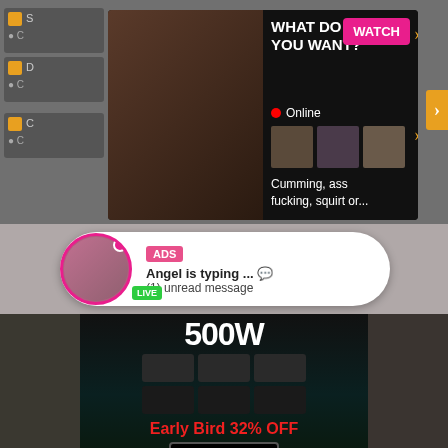[Figure (screenshot): Adult advertising screenshot showing a popup ad with text 'WHAT DO YOU WANT?' with a pink WATCH button, Online status indicator, thumbnail images, and text 'Cumming, ass fucking, squirt or...' with ADS label and close button X]
[Figure (screenshot): Adult chat notification popup showing a circular profile image with LIVE badge, ADS label in pink box, text 'Angel is typing ... ' and '(1) unread message']
[Figure (screenshot): Product advertisement banner showing '500W' text, speaker/audio equipment grid, 'Early Bird 32% OFF' in red text, and 'Save Now' button, flanked by adult content video thumbnails]